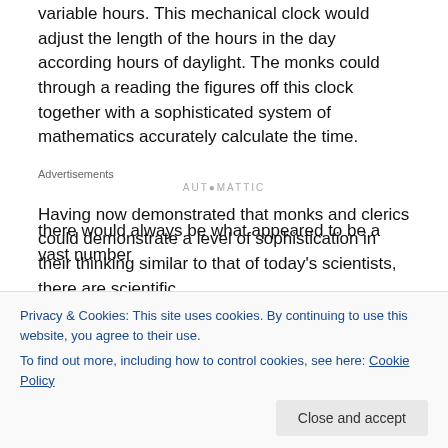variable hours. This mechanical clock would adjust the length of the hours in the day according hours of daylight. The monks could through a reading the figures off this clock together with a sophisticated system of mathematics accurately calculate the time.
Advertisements
AUTOMATTIC
Having now demonstrated that monks and clerics could demonstrate a level of sophistication in their thinking similar to that of today's scientists, there are scientific
Privacy & Cookies: This site uses cookies. By continuing to use this website, you agree to their use.
To find out more, including how to control cookies, see here: Cookie Policy
Close and accept
there would always be what appeared to be a vast number